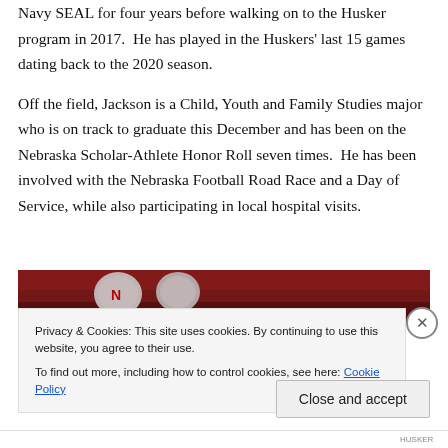Navy SEAL for four years before walking on to the Husker program in 2017. He has played in the Huskers' last 15 games dating back to the 2020 season.
Off the field, Jackson is a Child, Youth and Family Studies major who is on track to graduate this December and has been on the Nebraska Scholar-Athlete Honor Roll seven times. He has been involved with the Nebraska Football Road Race and a Day of Service, while also participating in local hospital visits.
[Figure (photo): A cropped photo showing football players wearing red and white Nebraska Huskers helmets, with a crowd in the background.]
Privacy & Cookies: This site uses cookies. By continuing to use this website, you agree to their use.
To find out more, including how to control cookies, see here: Cookie Policy
Close and accept